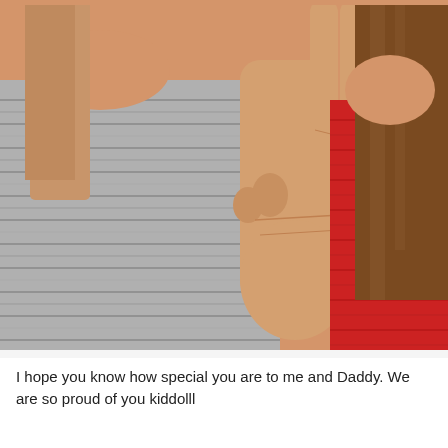[Figure (photo): Close-up photo of two people together. One person wearing a grey striped sweater is showing a peace/victory sign with their hand. The other person on the right is wearing a red sweater. Both have long brown hair. The image is cropped so faces are not visible.]
I hope you know how special you are to me and Daddy. We are so proud of you kiddolll